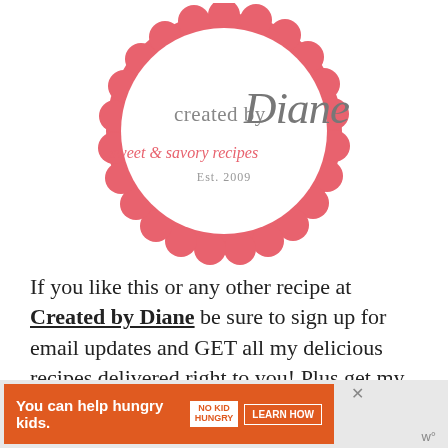[Figure (logo): Created by Diane logo — a coral/salmon scalloped circle border with a white center. Text inside reads 'created by Diane' in gray serif and script fonts, 'sweet & savory recipes' in coral italic script, and 'Est. 2009' in small gray text.]
If you like this or any other recipe at Created by Diane be sure to sign up for email updates and GET all my delicious recipes delivered right to you! Plus get my free e-cookbook too.
[Figure (screenshot): Orange advertisement banner: 'You can help hungry kids.' with No Kid Hungry logo and a 'LEARN HOW' button. Has an X close button top right.]